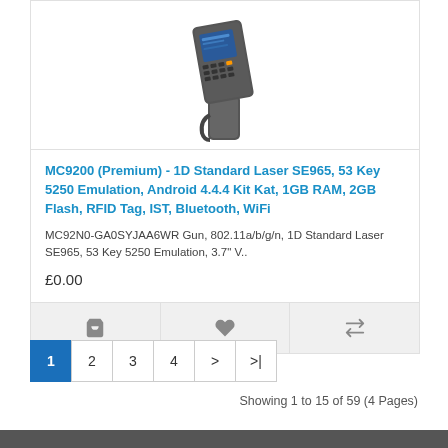[Figure (photo): Photo of MC9200 handheld barcode scanner / mobile computer device shown at an angle]
MC9200 (Premium) - 1D Standard Laser SE965, 53 Key 5250 Emulation, Android 4.4.4 Kit Kat, 1GB RAM, 2GB Flash, RFID Tag, IST, Bluetooth, WiFi
MC92N0-GA0SYJAA6WR Gun, 802.11a/b/g/n, 1D Standard Laser SE965, 53 Key 5250 Emulation, 3.7" V..
£0.00
Showing 1 to 15 of 59 (4 Pages)